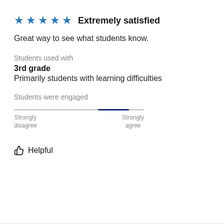★★★★★ Extremely satisfied
Great way to see what students know.
Students used with
3rd grade
Primarily students with learning difficulties
Students were engaged
[Figure (other): Horizontal slider/scale from Strongly disagree to Strongly agree, with the indicator position near Strongly agree end]
👍 Helpful